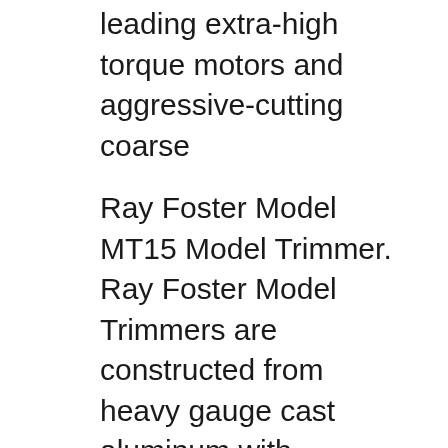leading extra-high torque motors and aggressive-cutting coarse
Ray Foster Model MT15 Model Trimmer. Ray Foster Model Trimmers are constructed from heavy gauge cast aluminum with stainless steel and solid brass fittings. The machines are finished, inside and out, with a high gloss white epoxy coating that offers durability, corrosion resistance, and … Ray Foster Orthodontic 12" Model Trimmer (MT15) Equipped with the Orthodontic Angulating Work Table, the Ray Foster 12" Model Trimmer speeds trimming of study models, and produces accurate and attractive results. The Orthodontic Angulating Work Table